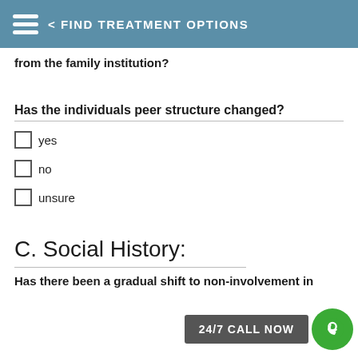< FIND TREATMENT OPTIONS
from the family institution?
Has the individuals peer structure changed?
yes
no
unsure
C. Social History:
24/7 CALL NOW
Has there been a gradual shift to non-involvement in